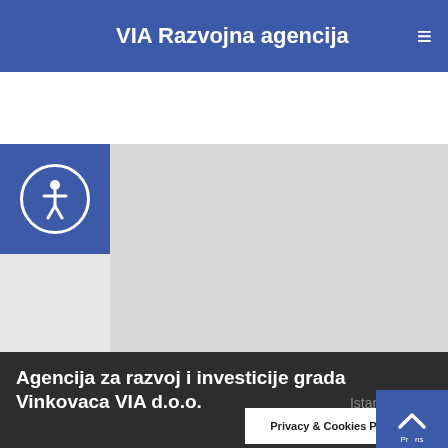VIA Razvojna agencija
[Figure (screenshot): Website screenshot showing accessibility icon (circle with person silhouette) on blue background on the left, and a grey hero image area on the right]
Agencija za razvoj i investicije grada Vinkovaca VIA d.o.o.
Istarska 3
Privacy & Cookies Policy